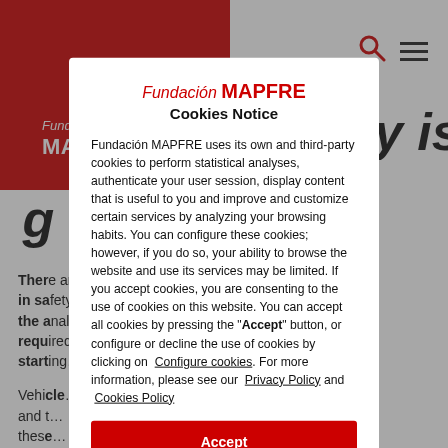[Figure (logo): Fundacion MAPFRE logo — white text on red background, top-left corner]
fragility is ten times greater on a motorcycle
There are significant differences in safety... the analysis... required... vehicles starting...
Vehicles... safety... and these... required... all vehicles... and...
[Figure (screenshot): Cookies Notice modal dialog overlay for Fundacion MAPFRE website]
Fundacion MAPFRE uses its own and third-party cookies to perform statistical analyses, authenticate your user session, display content that is useful to you and improve and customize certain services by analyzing your browsing habits. You can configure these cookies; however, if you do so, your ability to browse the website and use its services may be limited. If you accept cookies, you are consenting to the use of cookies on this website. You can accept all cookies by pressing the "Accept" button, or configure or decline the use of cookies by clicking on Configure cookies. For more information, please see our Privacy Policy and Cookies Policy